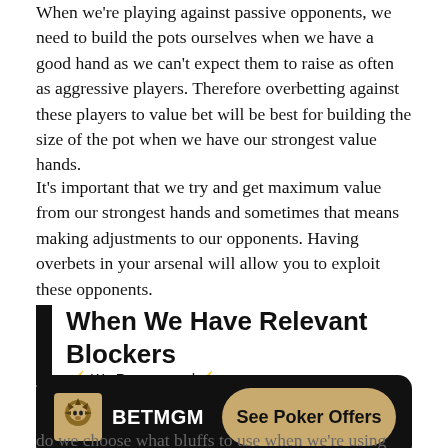When we're playing against passive opponents, we need to build the pots ourselves when we have a good hand as we can't expect them to raise as often as aggressive players. Therefore overbetting against these players to value bet will be best for building the size of the pot when we have our strongest value hands.
It's important that we try and get maximum value from our strongest hands and sometimes that means making adjustments to our opponents. Having overbets in your arsenal will allow you to exploit these opponents.
When We Have Relevant Blockers ⚡ We Recommend ⚡
[Figure (other): BetMGM advertisement banner with logo and 'See Poker Offers' button]
do we choose what bluffs to use when we're using such a